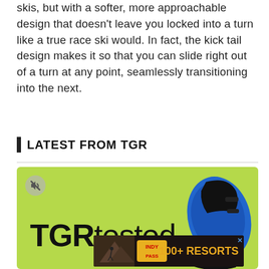skis, but with a softer, more approachable design that doesn't leave you locked into a turn like a true race ski would. In fact, the kick tail design makes it so that you can slide right out of a turn at any point, seamlessly transitioning into the next.
LATEST FROM TGR
[Figure (photo): TGRtested branded image on lime green background showing a ski boot (blue, orange, black) on the right side, with a muted speaker icon in top left corner]
[Figure (photo): Indy Pass advertisement banner showing '100+ RESORTS' text with skier silhouette and mountain background]